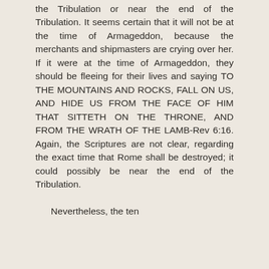the Tribulation or near the end of the Tribulation. It seems certain that it will not be at the time of Armageddon, because the merchants and shipmasters are crying over her. If it were at the time of Armageddon, they should be fleeing for their lives and saying TO THE MOUNTAINS AND ROCKS, FALL ON US, AND HIDE US FROM THE FACE OF HIM THAT SITTETH ON THE THRONE, AND FROM THE WRATH OF THE LAMB-Rev 6:16. Again, the Scriptures are not clear, regarding the exact time that Rome shall be destroyed; it could possibly be near the end of the Tribulation.
Nevertheless, the ten